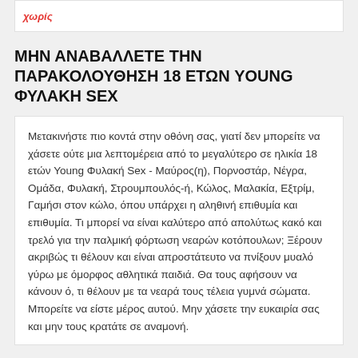ΜΗΝ ΑΝΑΒΑΛΛΕΤΕ ΤΗΝ ΠΑΡΑΚΟΛΟΥΘΗΣΗ 18 ΕΤΩΝ YOUNG ΦΥΛΑΚΗ SEX
Μετακινήστε πιο κοντά στην οθόνη σας, γιατί δεν μπορείτε να χάσετε ούτε μια λεπτομέρεια από το μεγαλύτερο σε ηλικία 18 ετών Young Φυλακή Sex - Μαύρος(η), Πορνοστάρ, Νέγρα, Ομάδα, Φυλακή, Στρουμπουλός-ή, Κώλος, Μαλακία, Εξτρίμ, Γαμήσι στον κώλο, όπου υπάρχει η αληθινή επιθυμία και επιθυμία. Τι μπορεί να είναι καλύτερο από απολύτως κακό και τρελό για την παλμική φόρτωση νεαρών κοτόπουλων; Ξέρουν ακριβώς τι θέλουν και είναι απροστάτευτο να πνίξουν μυαλό γύρω με όμορφος αθλητικά παιδιά. Θα τους αφήσουν να κάνουν ό, τι θέλουν με τα νεαρά τους τέλεια γυμνά σώματα. Μπορείτε να είστε μέρος αυτού. Μην χάσετε την ευκαιρία σας και μην τους κρατάτε σε αναμονή.